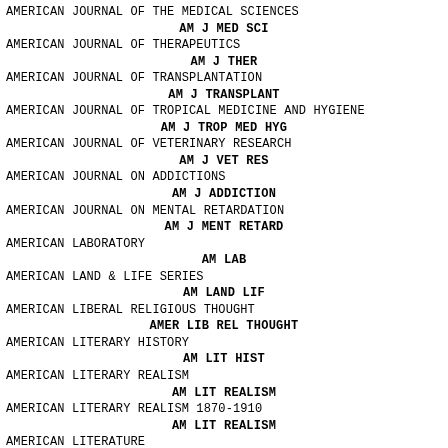AMERICAN JOURNAL OF THE MEDICAL SCIENCES
    AM J MED SCI
AMERICAN JOURNAL OF THERAPEUTICS
    AM J THER
AMERICAN JOURNAL OF TRANSPLANTATION
    AM J TRANSPLANT
AMERICAN JOURNAL OF TROPICAL MEDICINE AND HYGIENE
    AM J TROP MED HYG
AMERICAN JOURNAL OF VETERINARY RESEARCH
    AM J VET RES
AMERICAN JOURNAL ON ADDICTIONS
    AM J ADDICTION
AMERICAN JOURNAL ON MENTAL RETARDATION
    AM J MENT RETARD
AMERICAN LABORATORY
    AM LAB
AMERICAN LAND & LIFE SERIES
    AM LAND LIF
AMERICAN LIBERAL RELIGIOUS THOUGHT
    AMER LIB REL THOUGHT
AMERICAN LITERARY HISTORY
    AM LIT HIST
AMERICAN LITERARY REALISM
    AM LIT REALISM
AMERICAN LITERARY REALISM 1870-1910
    AM LIT REALISM
AMERICAN LITERATURE
    AM LIT
AMERICAN MACHINIST
    AM MACH
AMERICAN MALACOLOGICAL BULLETIN